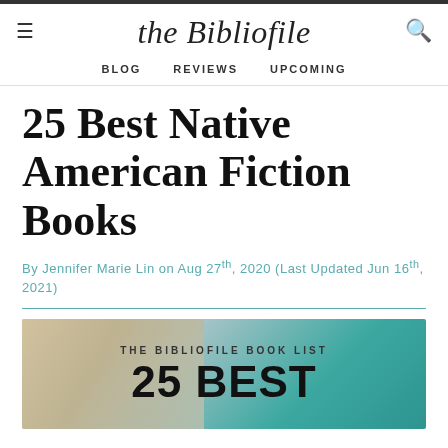the Bibliofile
BLOG   REVIEWS   UPCOMING
25 Best Native American Fiction Books
By Jennifer Marie Lin on Aug 27th, 2020 (Last Updated Jun 16th, 2021)
[Figure (illustration): The Bibliofile Book List banner image with teal and sandy desert tones, text reads 'THE BIBLIOFILE BOOK LIST' and '25 BEST']